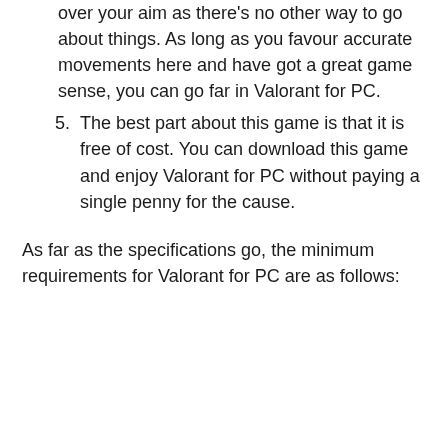over your aim as there's no other way to go about things. As long as you favour accurate movements here and have got a great game sense, you can go far in Valorant for PC.
5. The best part about this game is that it is free of cost. You can download this game and enjoy Valorant for PC without paying a single penny for the cause.
As far as the specifications go, the minimum requirements for Valorant for PC are as follows:
Some text continues below...